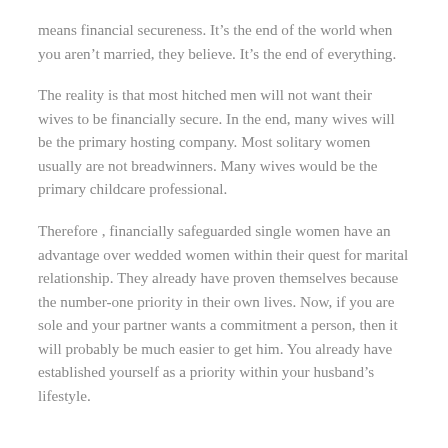means financial secureness. It’s the end of the world when you aren’t married, they believe. It’s the end of everything.
The reality is that most hitched men will not want their wives to be financially secure. In the end, many wives will be the primary hosting company. Most solitary women usually are not breadwinners. Many wives would be the primary childcare professional.
Therefore , financially safeguarded single women have an advantage over wedded women within their quest for marital relationship. They already have proven themselves because the number-one priority in their own lives. Now, if you are sole and your partner wants a commitment a person, then it will probably be much easier to get him. You already have established yourself as a priority within your husband’s lifestyle.